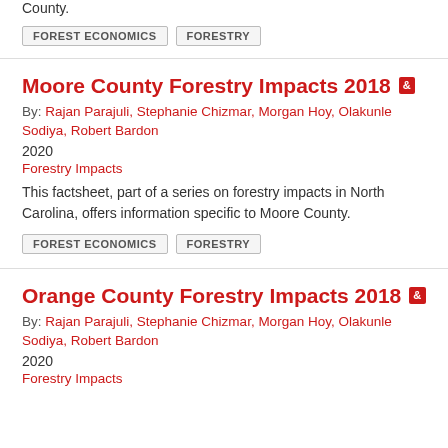County.
FOREST ECONOMICS
FORESTRY
Moore County Forestry Impacts 2018
By: Rajan Parajuli, Stephanie Chizmar, Morgan Hoy, Olakunle Sodiya, Robert Bardon
2020
Forestry Impacts
This factsheet, part of a series on forestry impacts in North Carolina, offers information specific to Moore County.
FOREST ECONOMICS
FORESTRY
Orange County Forestry Impacts 2018
By: Rajan Parajuli, Stephanie Chizmar, Morgan Hoy, Olakunle Sodiya, Robert Bardon
2020
Forestry Impacts